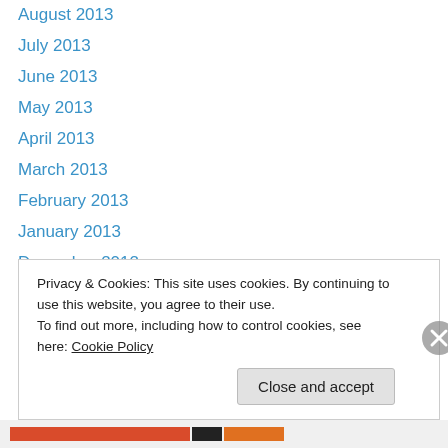August 2013
July 2013
June 2013
May 2013
April 2013
March 2013
February 2013
January 2013
December 2012
November 2012
August 2012
July 2012
June 2012
Privacy & Cookies: This site uses cookies. By continuing to use this website, you agree to their use. To find out more, including how to control cookies, see here: Cookie Policy
Close and accept